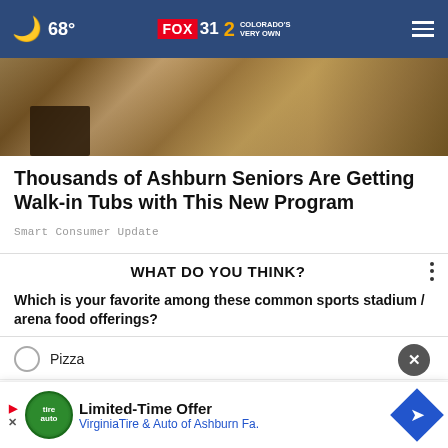68° FOX 31 2 COLORADO'S VERY OWN
[Figure (photo): Close-up photo of a bathroom with tiled floor and what appears to be a walk-in tub or toilet area]
Thousands of Ashburn Seniors Are Getting Walk-in Tubs with This New Program
Smart Consumer Update
WHAT DO YOU THINK?
Which is your favorite among these common sports stadium / arena food offerings?
Pizza
I don't buy food at sporting events
H...
[Figure (advertisement): Limited-Time Offer banner ad for Virginia Tire & Auto of Ashburn Fa. with logo and navigation arrow icon]